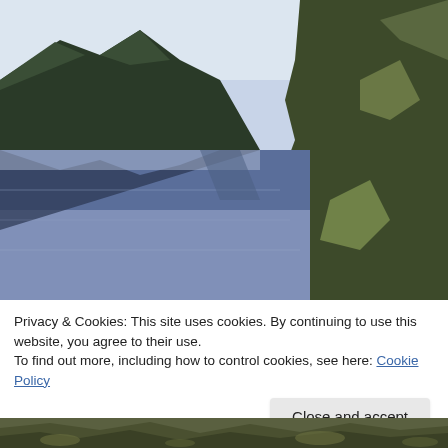[Figure (photo): A serene fjord or lake scene with dark steep mountains and their mirror reflections in calm blue water. The mountains are covered with dark green vegetation. The sky is light/white. The scene is symmetrically reflected in the still water below.]
Privacy & Cookies: This site uses cookies. By continuing to use this website, you agree to their use.
To find out more, including how to control cookies, see here: Cookie Policy
[Figure (photo): Partial view of a rocky or mossy landscape at the bottom of the page.]